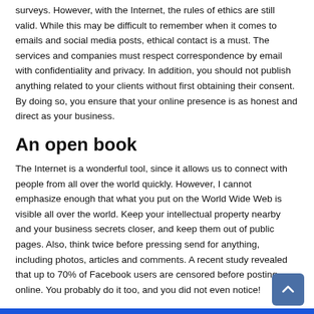surveys. However, with the Internet, the rules of ethics are still valid. While this may be difficult to remember when it comes to emails and social media posts, ethical contact is a must. The services and companies must respect correspondence by email with confidentiality and privacy. In addition, you should not publish anything related to your clients without first obtaining their consent. By doing so, you ensure that your online presence is as honest and direct as your business.
An open book
The Internet is a wonderful tool, since it allows us to connect with people from all over the world quickly. However, I cannot emphasize enough that what you put on the World Wide Web is visible all over the world. Keep your intellectual property nearby and your business secrets closer, and keep them out of public pages. Also, think twice before pressing send for anything, including photos, articles and comments. A recent study revealed that up to 70% of Facebook users are censored before posting online. You probably do it too, and you did not even notice!